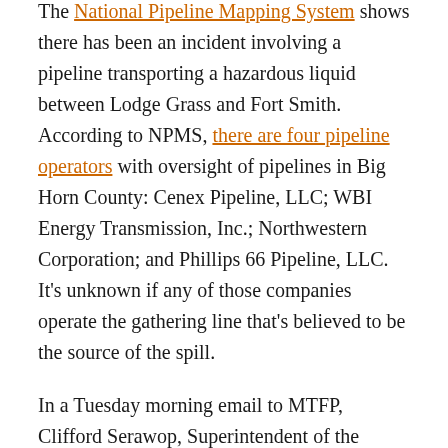The National Pipeline Mapping System shows there has been an incident involving a pipeline transporting a hazardous liquid between Lodge Grass and Fort Smith. According to NPMS, there are four pipeline operators with oversight of pipelines in Big Horn County: Cenex Pipeline, LLC; WBI Energy Transmission, Inc.; Northwestern Corporation; and Phillips 66 Pipeline, LLC. It's unknown if any of those companies operate the gathering line that's believed to be the source of the spill.
In a Tuesday morning email to MTFP, Clifford Serawop, Superintendent of the Bureau of Indian Affairs' Crow Agency office, said BIA's Land Service staff would be responding to the incident.